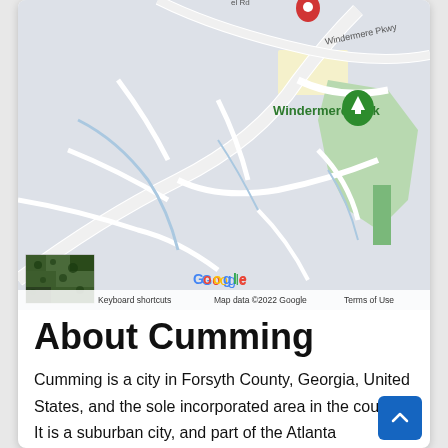[Figure (map): Google Maps screenshot showing Windermere Park area in Cumming, Georgia. Features road network, Windermere Pkwy label, green park area, red location pin, satellite thumbnail, zoom controls (+/-), Google logo, and map attribution text including 'Keyboard shortcuts', 'Map data ©2022 Google', 'Terms of Use'.]
About Cumming
Cumming is a city in Forsyth County, Georgia, United States, and the sole incorporated area in the county. It is a suburban city, and part of the Atlanta metropolitan area. Its population